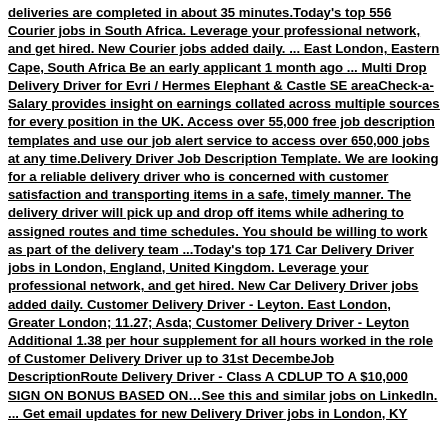deliveries are completed in about 35 minutes.Today's top 556 Courier jobs in South Africa. Leverage your professional network, and get hired. New Courier jobs added daily. ... East London, Eastern Cape, South Africa Be an early applicant 1 month ago ... Multi Drop Delivery Driver for Evri / Hermes Elephant & Castle SE areaCheck-a-Salary provides insight on earnings collated across multiple sources for every position in the UK. Access over 55,000 free job description templates and use our job alert service to access over 650,000 jobs at any time.Delivery Driver Job Description Template. We are looking for a reliable delivery driver who is concerned with customer satisfaction and transporting items in a safe, timely manner. The delivery driver will pick up and drop off items while adhering to assigned routes and time schedules. You should be willing to work as part of the delivery team ...Today's top 171 Car Delivery Driver jobs in London, England, United Kingdom. Leverage your professional network, and get hired. New Car Delivery Driver jobs added daily. Customer Delivery Driver - Leyton. East London, Greater London; 11.27; Asda; Customer Delivery Driver - Leyton Additional 1.38 per hour supplement for all hours worked in the role of Customer Delivery Driver up to 31st DecembeJob DescriptionRoute Delivery Driver - Class A CDLUP TO A $10,000 SIGN ON BONUS BASED ON…See this and similar jobs on LinkedIn. ... Get email updates for new Delivery Driver jobs in London, KY